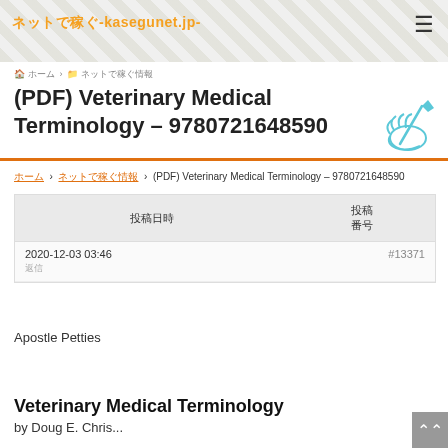ネットで稼ぐ-kasegunet.jp-
ホーム › ネットで稼ぐ情報 › (PDF) Veterinary Medical Terminology – 9780721648590
(PDF) Veterinary Medical Terminology – 9780721648590
ホーム › ネットで稼ぐ情報 › (PDF) Veterinary Medical Terminology – 9780721648590
| 投稿日時 | 投稿番号 |
| --- | --- |
| 2020-12-03 03:46 | #13371 |
| 返信 |  |
Apostle Petties
Veterinary Medical Terminology
by Doug E. Chris...